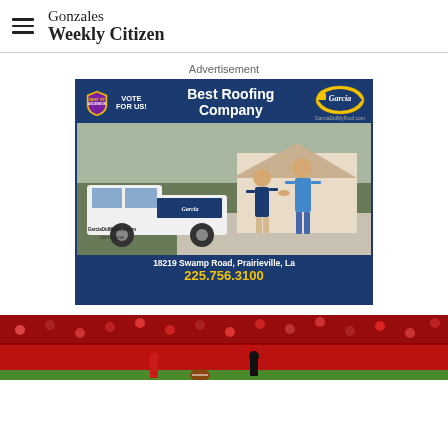Gonzales Weekly Citizen
Advertisement
[Figure (photo): Garcia Roofing advertisement. Blue background with 'Best of Ascension VOTE FOR US!' badge, 'Best Roofing Company' text, Garcia logo, photo of two men shaking hands next to a Garcia-branded truck, address: 18219 Swamp Road, Prairieville, La, phone: 225.756.3100, website: GarciaDidMyRoof.com]
[Figure (photo): Bottom partial photo showing a football game with players and crowd in a stadium]